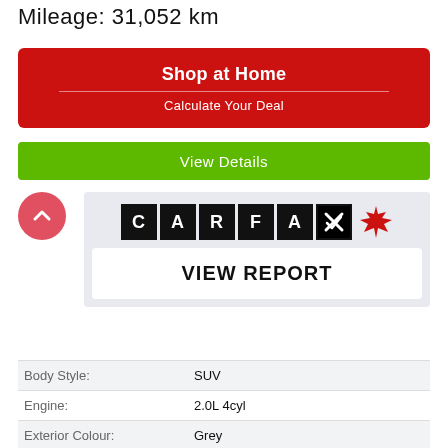Mileage: 31,052 km
Shop at Home
Calculate Your Deal
View Details
[Figure (logo): CARFAX Canada logo with maple leaf and VIEW REPORT button]
| Label | Value |
| --- | --- |
| Body Style: | SUV |
| Engine: | 2.0L 4cyl |
| Exterior Colour: | Grey |
| VIN: | MAJ6S3KL2LC381937 |
| Transmission: | Automatic |
| Drivetrain: | 4x4 |
| Stock #: | 381937 |